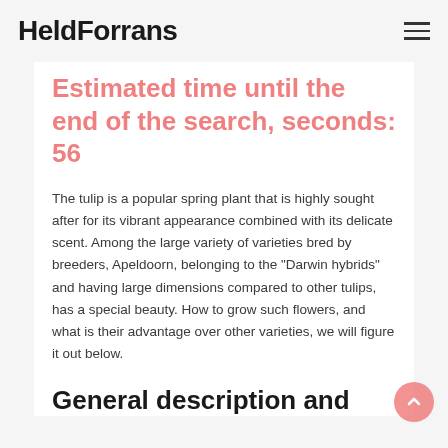HeldForrans
Estimated time until the end of the search, seconds: 56
The tulip is a popular spring plant that is highly sought after for its vibrant appearance combined with its delicate scent. Among the large variety of varieties bred by breeders, Apeldoorn, belonging to the "Darwin hybrids" and having large dimensions compared to other tulips, has a special beauty. How to grow such flowers, and what is their advantage over other varieties, we will figure it out below.
General description and